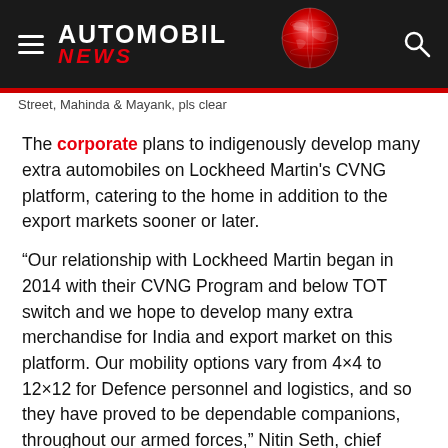AUTOMOBIL NEWS
Street, Mahan & Mayank, pls clear
The corporate plans to indigenously develop many extra automobiles on Lockheed Martin's CVNG platform, catering to the home in addition to the export markets sooner or later.
“Our relationship with Lockheed Martin began in 2014 with their CVNG Program and below TOT switch and we hope to develop many extra merchandise for India and export market on this platform. Our mobility options vary from 4×4 to 12×12 for Defence personnel and logistics, and so they have proved to be dependable companions, throughout our armed forces,” Nitin Seth, chief working officer, Ashok Leyland, stated.
Final month, Mahindra & Mahindra Ltd’s subsidiary Mahindra Defence Methods stated the Milit…